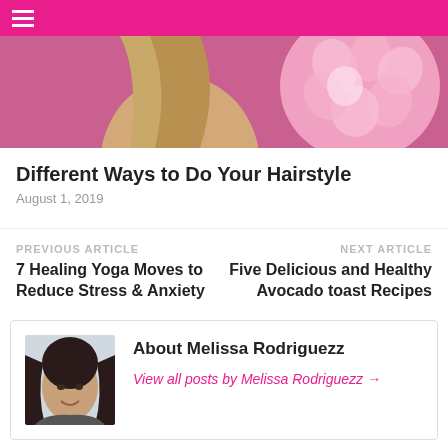[Figure (photo): Woman viewed from behind holding a large pink flower bouquet against a pink background]
Different Ways to Do Your Hairstyle
August 1, 2019
PREVIOUS ARTICLE
7 Healing Yoga Moves to Reduce Stress & Anxiety
NEXT ARTICLE
Five Delicious and Healthy Avocado toast Recipes
About Melissa Rodriguezz
[Figure (photo): Headshot of Melissa Rodriguezz, a woman with dark hair smiling]
View all posts by Melissa Rodriguezz →